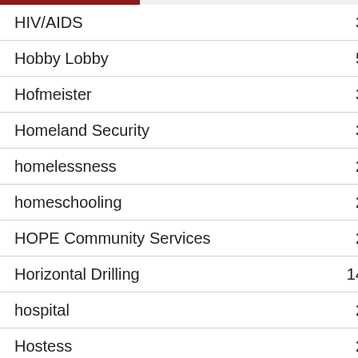| Topic | Count |
| --- | --- |
| HIV/AIDS | 3 |
| Hobby Lobby | 5 |
| Hofmeister | 3 |
| Homeland Security | 3 |
| homelessness | 2 |
| homeschooling | 2 |
| HOPE Community Services | 2 |
| Horizontal Drilling | 14 |
| hospital | 2 |
| Hostess | 2 |
| House Appropriations and Budget Committee | 4 |